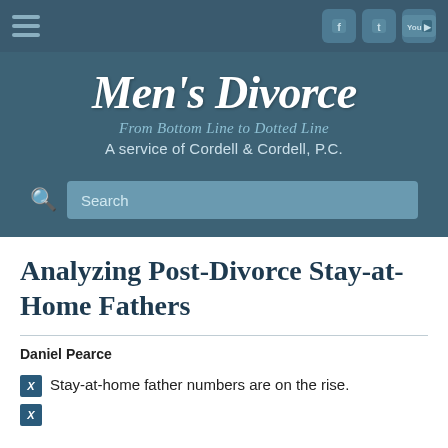Men's Divorce — From Bottom Line to Dotted Line — A service of Cordell & Cordell, P.C.
Analyzing Post-Divorce Stay-at-Home Fathers
Daniel Pearce
Stay-at-home father numbers are on the rise.